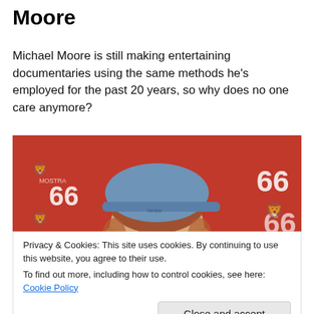Moore
Michael Moore is still making entertaining documentaries using the same methods he's employed for the past 20 years, so why does no one care anymore?
[Figure (photo): Photo of Michael Moore wearing a blue baseball cap and dark-framed glasses, standing in front of a red Venice Film Festival backdrop with the number 66 visible.]
Privacy & Cookies: This site uses cookies. By continuing to use this website, you agree to their use.
To find out more, including how to control cookies, see here: Cookie Policy
Close and accept